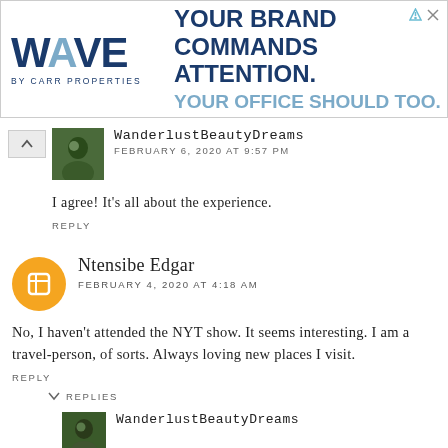[Figure (other): WAVE by Carr Properties advertisement banner. Text: YOUR BRAND COMMANDS ATTENTION. YOUR OFFICE SHOULD TOO.]
WanderlustBeautyDreams
FEBRUARY 6, 2020 AT 9:57 PM
I agree! It's all about the experience.
REPLY
Ntensibe Edgar
FEBRUARY 4, 2020 AT 4:18 AM
No, I haven't attended the NYT show. It seems interesting. I am a travel-person, of sorts. Always loving new places I visit.
REPLY
REPLIES
WanderlustBeautyDreams